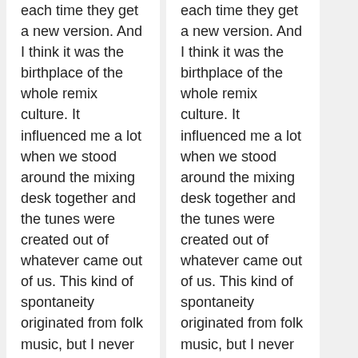each time they get a new version. And I think it was the birthplace of the whole remix culture. It influenced me a lot when we stood around the mixing desk together and the tunes were created out of whatever came out of us. This kind of spontaneity originated from folk music, but I never had to look for folk musicians because I was always surrounded by them. For example, [[Szilvia Bognár]] studied singing in the same building where my co-producer [[Gergely Németh]]'s mother had her folk lessons, and we rehearsed next to their room. So it happened completely
each time they get a new version. And I think it was the birthplace of the whole remix culture. It influenced me a lot when we stood around the mixing desk together and the tunes were created out of whatever came out of us. This kind of spontaneity originated from folk music, but I never had to look for folk musicians because I was always surrounded by them. For example, [[Szilvia Bognár]] studied singing in the same building where my co-producer [[Gergely Németh]]'s mother had her folk lessons, and we rehearsed next to their room. So it happened completely